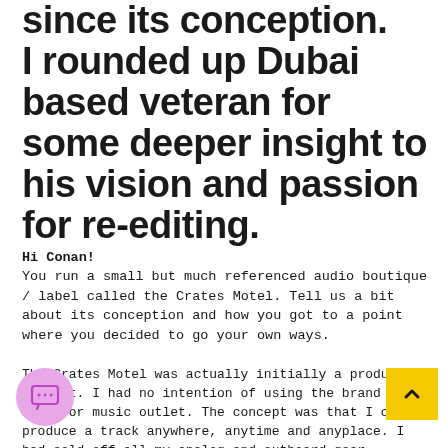since its conception. I rounded up Dubai based veteran for some deeper insight to his vision and passion for re-editing.
Hi Conan!
You run a small but much referenced audio boutique / label called the Crates Motel. Tell us a bit about its conception and how you got to a point where you decided to go your own ways.
The Crates Motel was actually initially a production concept. I had no intention of using the brand as a label or music outlet. The concept was that I could produce a track anywhere, anytime and anyplace. I had sold off all my analog and outboard gear a...arst and gone 100% In-The-Box therefore I was able to produce, mix and master anywhere I wanted, from hotel rooms to beach bars. But the brand grew and started to gain